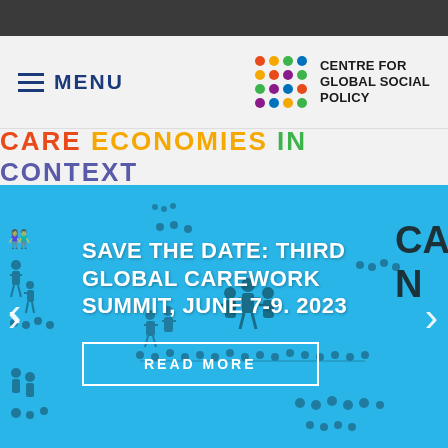[Figure (logo): Navigation bar with hamburger menu icon and MENU text in dark blue, and Centre for Global Social Policy logo with coloured dots grid on the right]
CARE ECONOMIES IN CONTEXT
[Figure (screenshot): Hero banner with light blue background, silhouette world map made of paper-chain people figures in dark teal, white bold text reading SAVE THE DATE: THIRD GLOBAL CAREWORK SUMMIT, JUNE 7-9. 2023, a READ MORE button with white border, left and right carousel arrows, and partial dark text CA / N on far right edge]